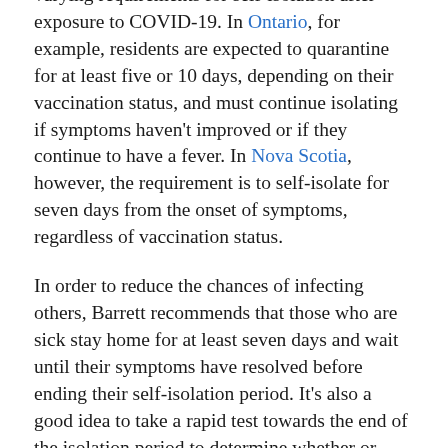varying requirements for self-isolation after exposure to COVID-19. In Ontario, for example, residents are expected to quarantine for at least five or 10 days, depending on their vaccination status, and must continue isolating if symptoms haven't improved or if they continue to have a fever. In Nova Scotia, however, the requirement is to self-isolate for seven days from the onset of symptoms, regardless of vaccination status.
In order to reduce the chances of infecting others, Barrett recommends that those who are sick stay home for at least seven days and wait until their symptoms have resolved before ending their self-isolation period. It's also a good idea to take a rapid test towards the end of the isolation period to determine whether or